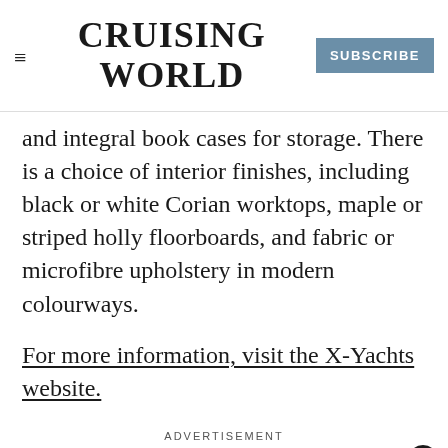CRUISING WORLD | SUBSCRIBE
and integral book cases for storage. There is a choice of interior finishes, including black or white Corian worktops, maple or striped holly floorboards, and fabric or microfibre upholstery in modern colourways.
For more information, visit the X-Yachts website.
ADVERTISEMENT
[Figure (photo): Light blue boat/map image partially visible at bottom of page]